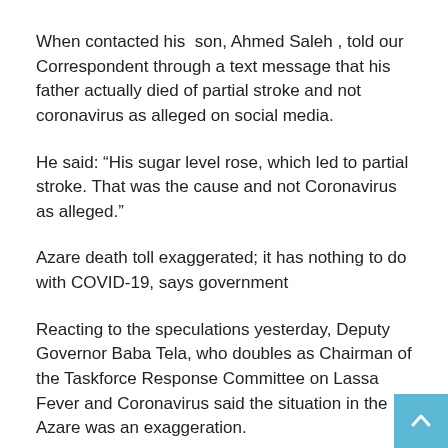When contacted his  son, Ahmed Saleh , told our Correspondent through a text message that his father actually died of partial stroke and not coronavirus as alleged on social media.
He said: “His sugar level rose, which led to partial stroke. That was the cause and not Coronavirus as alleged.”
Azare death toll exaggerated; it has nothing to do with COVID-19, says government
Reacting to the speculations yesterday, Deputy Governor Baba Tela, who doubles as Chairman of the Taskforce Response Committee on Lassa Fever and Coronavirus said the situation in the Azare was an exaggeration.